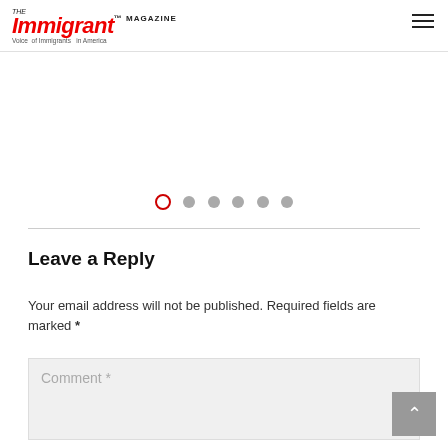The Immigrant Magazine — Voice of Immigrants in America
[Figure (other): Carousel/slider dot navigation indicators: one open red circle (active) followed by five filled gray circles]
Leave a Reply
Your email address will not be published. Required fields are marked *
Comment *